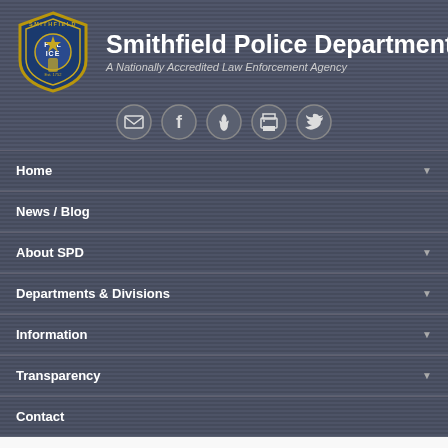[Figure (logo): Smithfield Police Department shield badge logo with blue and gold colors]
Smithfield Police Department
A Nationally Accredited Law Enforcement Agency
[Figure (infographic): Row of 5 social media icons: email, Facebook, fire/Flickr, printer/RSS, Twitter — circular gray buttons]
Home
News / Blog
About SPD
Departments & Divisions
Information
Transparency
Contact
Personnel Complaint & Procedures